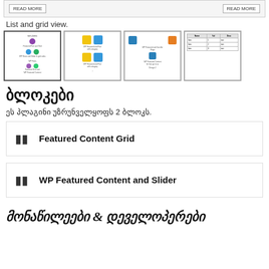[Figure (screenshot): Top banner showing READ MORE buttons on a light gray background]
List and grid view.
[Figure (screenshot): Four thumbnails showing different plugin view layouts including colored circles, colored squares, and a table layout]
ბლოკები
ეს პლაგინი უზრუნველყოფს 2 ბლოკს.
Featured Content Grid
WP Featured Content and Slider
მონაწილეები & დეველოპერები